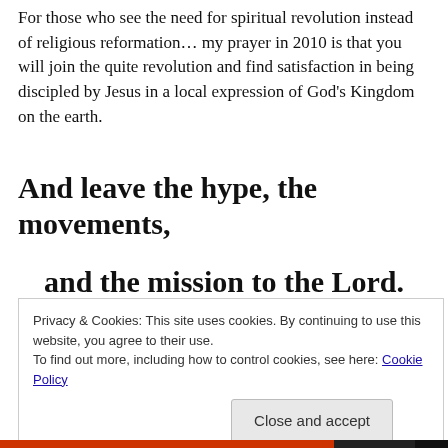For those who see the need for spiritual revolution instead of religious reformation… my prayer in 2010 is that you will join the quite revolution and find satisfaction in being discipled by Jesus in a local expression of God's Kingdom on the earth.
And leave the hype, the movements, and the mission to the Lord.
Privacy & Cookies: This site uses cookies. By continuing to use this website, you agree to their use.
To find out more, including how to control cookies, see here: Cookie Policy
Close and accept